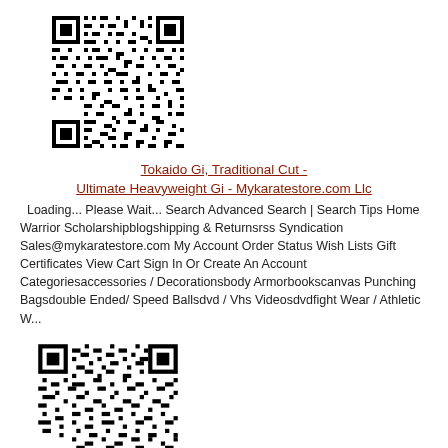[Figure (other): QR code linking to Tokaido Gi product page on Mykaratestore.com]
Tokaido Gi, Traditional Cut - Ultimate Heavyweight Gi - Mykaratestore.com Llc
Loading... Please Wait... Search Advanced Search | Search Tips Home Warrior Scholarshipblogshipping & Returnsrss Syndication Sales@mykaratestore.com My Account Order Status Wish Lists Gift Certificates View Cart Sign In Or Create An Account Categoriesaccessories / Decorationsbody Armorbookscanvas Punching Bagsdouble Ended/ Speed Ballsdvd / Vhs Videosdvdfight Wear / Athletic W...
[Figure (other): QR code linking to Tokaido Gi product page on Mykaratestore.com]
Tokaido Gi, Traditional Cut - Ultimate Heavyweight Gi - Mykaratestore.com Llc
Loading... Please Wait... Search Advanced Search | Search Tips Home Warrior Scholarshipblogshipping & Returnsrss Syndication Sales@mykaratestore.com My Account Order Status...